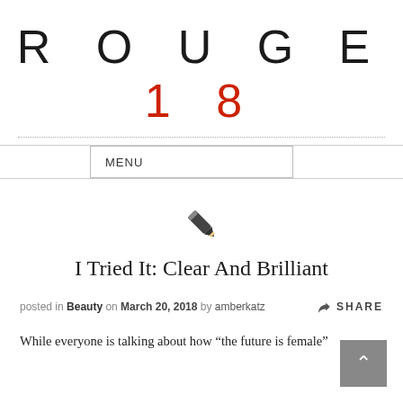ROUGE18
MENU
[Figure (illustration): Pencil icon (edit icon) in dark gray]
I Tried It: Clear And Brilliant
posted in Beauty on March 20, 2018 by amberkatz   SHARE
While everyone is talking about how “the future is female”